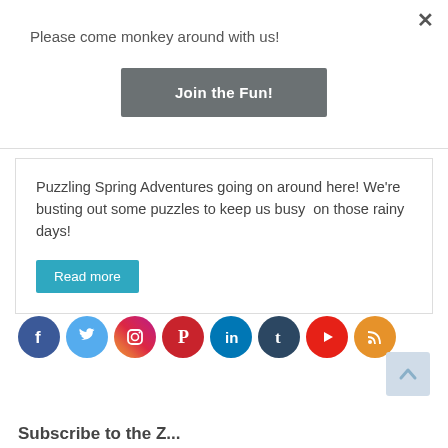Please come monkey around with us!
Join the Fun!
Puzzling Spring Adventures going on around here! We're busting out some puzzles to keep us busy  on those rainy days!
Read more
[Figure (infographic): Row of 8 social media icons: Facebook (dark blue), Twitter (light blue), Instagram (gradient purple-orange), Pinterest (red), LinkedIn (teal), Tumblr (dark navy), YouTube (red), RSS (orange)]
Subscribe to the Z...